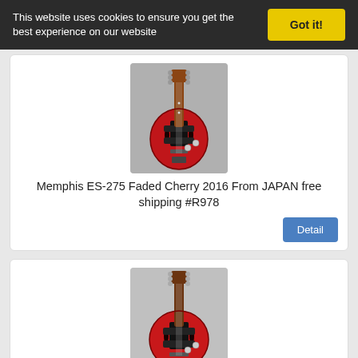This website uses cookies to ensure you get the best experience on our website
Got it!
[Figure (photo): Red semi-hollow electric guitar (Memphis ES-275 Faded Cherry) photographed against a light background]
Memphis ES-275 Faded Cherry 2016 From JAPAN free shipping #R978
Detail
[Figure (photo): Red semi-hollow electric guitar (Memphis ES-335 Satin Faded Cherry) photographed against a gray background]
Memphis ES-335 Satin Faded Cherry 2016 FREESHIPPING from JAPAN
Detail